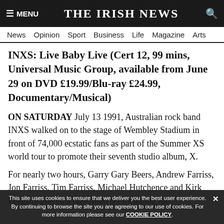MENU  THE IRISH NEWS  [search icon]
News  Opinion  Sport  Business  Life  Magazine  Arts
INXS: Live Baby Live (Cert 12, 99 mins, Universal Music Group, available from June 29 on DVD £19.99/Blu-ray £24.99, Documentary/Musical)
ON SATURDAY July 13 1991, Australian rock band INXS walked on to the stage of Wembley Stadium in front of 74,000 ecstatic fans as part of the Summer XS world tour to promote their seventh studio album, X.
For nearly two hours, Garry Gary Beers, Andrew Farriss, Jon Farriss, Tim Farriss, Michael Hutchence and Kirk Pengilly played a hits-filled set including the [continues below]
This site uses cookies to ensure that we deliver you the best user experience. By continuing to browse the site you are agreeing to our use of cookies. For more information please see our COOKIE POLICY.